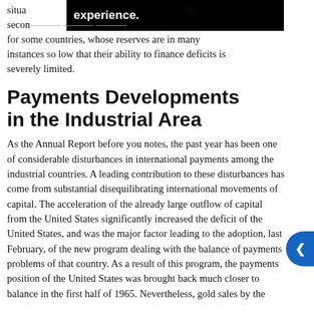situa experience. he second half of this year. This could create difficulties for some countries, whose reserves are in many instances so low that their ability to finance deficits is severely limited.
Payments Developments in the Industrial Area
As the Annual Report before you notes, the past year has been one of considerable disturbances in international payments among the industrial countries. A leading contribution to these disturbances has come from substantial disequilibrating international movements of capital. The acceleration of the already large outflow of capital from the United States significantly increased the deficit of the United States, and was the major factor leading to the adoption, last February, of the new program dealing with the balance of payments problems of that country. As a result of this program, the payments position of the United States was brought back much closer to balance in the first half of 1965. Nevertheless, gold sales by the